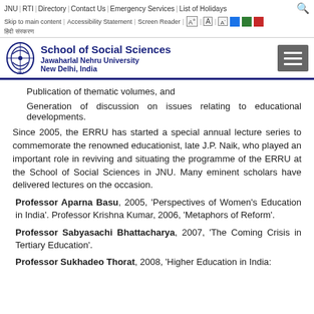JNU | RTI | Directory | Contact Us | Emergency Services | List of Holidays
Skip to main content | Accessibility Statement | Screen Reader | A+ | A | A-
हिंदी संस्करण
School of Social Sciences
Jawaharlal Nehru University
New Delhi, India
Publication of thematic volumes, and
Generation of discussion on issues relating to educational developments.
Since 2005, the ERRU has started a special annual lecture series to commemorate the renowned educationist, late J.P. Naik, who played an important role in reviving and situating the programme of the ERRU at the School of Social Sciences in JNU. Many eminent scholars have delivered lectures on the occasion.
Professor Aparna Basu, 2005, 'Perspectives of Women's Education in India'. Professor Krishna Kumar, 2006, 'Metaphors of Reform'.
Professor Sabyasachi Bhattacharya, 2007, 'The Coming Crisis in Tertiary Education'.
Professor Sukhadeo Thorat, 2008, 'Higher Education in India: